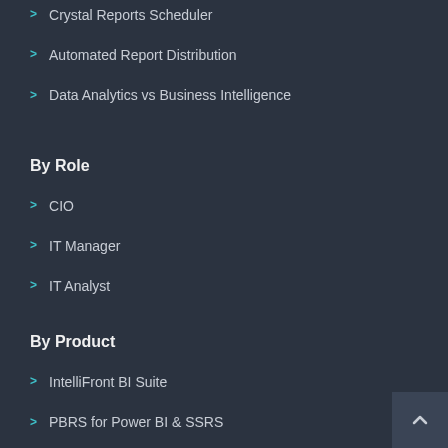Crystal Reports Scheduler
Automated Report Distribution
Data Analytics vs Business Intelligence
By Role
CIO
IT Manager
IT Analyst
By Product
IntelliFront BI Suite
PBRS for Power BI & SSRS